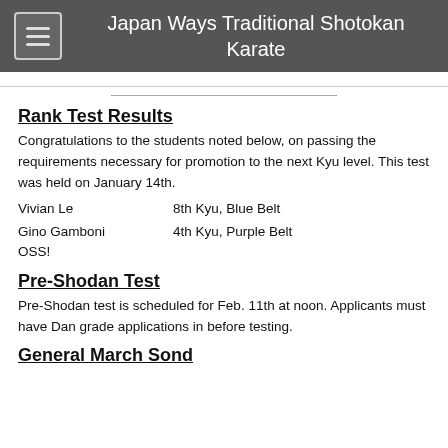Japan Ways Traditional Shotokan Karate
Rank Test Results
Congratulations to the students noted below, on passing the requirements necessary for promotion to the next Kyu level. This test was held on January 14th.
Vivian Le   8th Kyu, Blue Belt
Gino Gamboni   4th Kyu, Purple Belt
OSS!
Pre-Shodan Test
Pre-Shodan test is scheduled for Feb. 11th at noon. Applicants must have Dan grade applications in before testing.